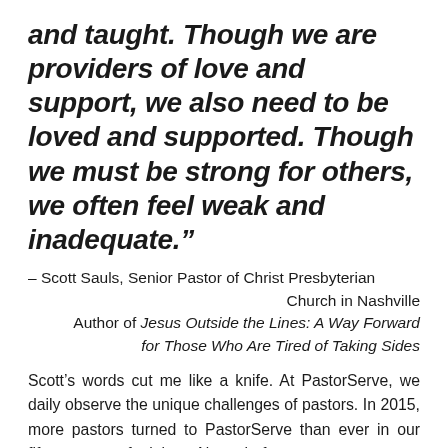and taught. Though we are providers of love and support, we also need to be loved and supported. Though we must be strong for others, we often feel weak and inadequate.”
– Scott Sauls, Senior Pastor of Christ Presbyterian Church in Nashville Author of Jesus Outside the Lines: A Way Forward for Those Who Are Tired of Taking Sides
Scott’s words cut me like a knife. At PastorServe, we daily observe the unique challenges of pastors. In 2015, more pastors turned to PastorServe than ever in our fifteen years of ministry. Never before